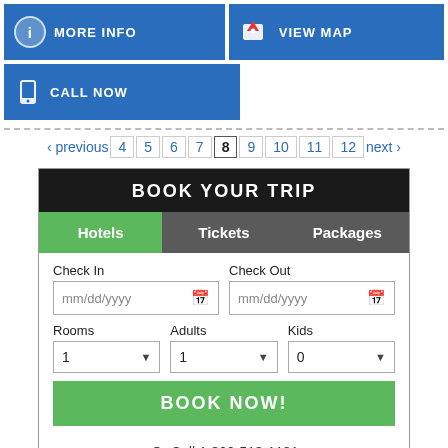[Figure (screenshot): Blue button with info icon and MORE INFO text]
[Figure (screenshot): Blue button with map icon and VIEW MAP text]
[Figure (screenshot): Blue button with phone icon and CALL NOW text]
‹ previous  4  5  6  7  8  9  10  11  12  next ›
[Figure (screenshot): Book Your Trip widget with Hotels/Tickets/Packages tabs, check-in/check-out date fields, Rooms/Adults/Kids dropdowns, BOOK NOW button, and Or Call 1-800-518-1181]